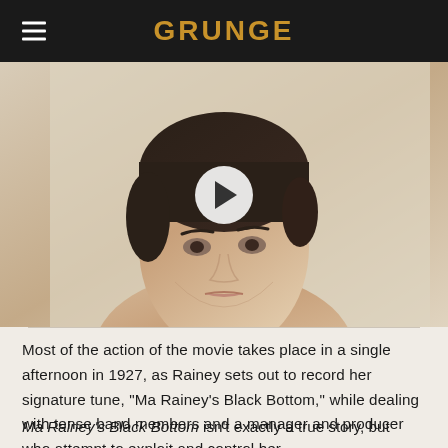GRUNGE
[Figure (photo): A woman with short dark hair looking directly at the camera against a light beige background, with a white play button overlay indicating a video]
Most of the action of the movie takes place in a single afternoon in 1927, as Rainey sets out to record her signature tune, "Ma Rainey's Black Bottom," while dealing with tense band members and a manager and producer who attempt to exploit and control her.
Ma Rainey's Black Bottom isn't exactly a true story, but